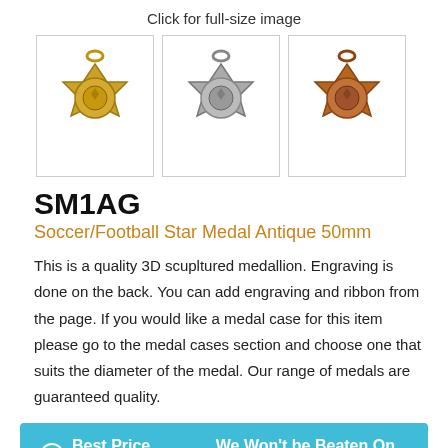Click for full-size image
[Figure (photo): Three soccer/football star medals shown side by side: gold (antique gold), silver (antique silver), and bronze (antique bronze), each star-shaped with a soccer ball in the center and a ring at the top for attachment.]
SM1AG
Soccer/Football Star Medal Antique 50mm
This is a quality 3D scupltured medallion. Engraving is done on the back. You can add engraving and ribbon from the page. If you would like a medal case for this item please go to the medal cases section and choose one that suits the diameter of the medal. Our range of medals are guaranteed quality.
Best Price Guaranteed   We Won't be Beaten On Price
How many would you like?